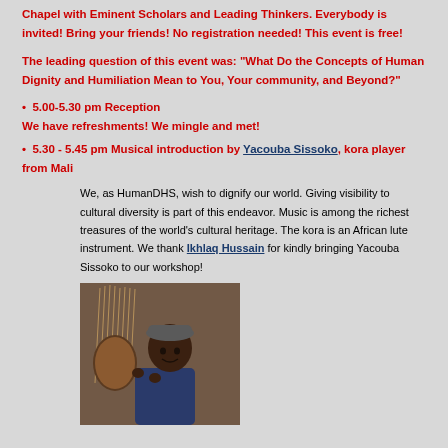Chapel with Eminent Scholars and Leading Thinkers. Everybody is invited! Bring your friends! No registration needed! This event is free!
The leading question of this event was: "What Do the Concepts of Human Dignity and Humiliation Mean to You, Your community, and Beyond?"
• 5.00-5.30 pm Reception
We have refreshments! We mingle and met!
• 5.30 - 5.45 pm Musical introduction by Yacouba Sissoko, kora player from Mali
We, as HumanDHS, wish to dignify our world. Giving visibility to cultural diversity is part of this endeavor. Music is among the richest treasures of the world's cultural heritage. The kora is an African lute instrument. We thank Ikhlaq Hussain for kindly bringing Yacouba Sissoko to our workshop!
[Figure (photo): Photo of Yacouba Sissoko, a kora player from Mali, holding a kora instrument]